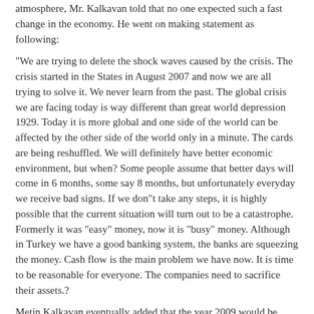atmosphere, Mr. Kalkavan told that no one expected such a fast change in the economy. He went on making statement as following:
"We are trying to delete the shock waves caused by the crisis. The crisis started in the States in August 2007 and now we are all trying to solve it. We never learn from the past. The global crisis we are facing today is way different than great world depression 1929. Today it is more global and one side of the world can be affected by the other side of the world only in a minute. The cards are being reshuffled. We will definitely have better economic environment, but when? Some people assume that better days will come in 6 months, some say 8 months, but unfortunately everyday we receive bad signs. If we don"t take any steps, it is highly possible that the current situation will turn out to be a catastrophe. Formerly it was "easy" money, now it is "busy" money. Although in Turkey we have a good banking system, the banks are squeezing the money. Cash flow is the main problem we have now. It is time to be reasonable for everyone. The companies need to sacrifice their assets.?
Metin Kalkavan eventually added that the year 2009 would be worse than the year 2008.
[Figure (photo): Interior photo of a room with ornate golden ceiling lamps/chandeliers against a dark brown ceiling, with a white screen or display visible at the bottom center.]